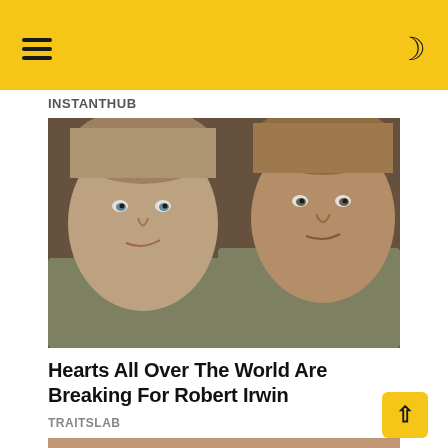INSTANTHUB
[Figure (photo): Two males side by side — a teenage boy with short blond hair on the left and an older man with reddish-brown hair on the right, both looking toward the camera.]
Hearts All Over The World Are Breaking For Robert Irwin
TRAITSLAB
[Figure (photo): Partial close-up photo, cropped at the bottom of the page.]